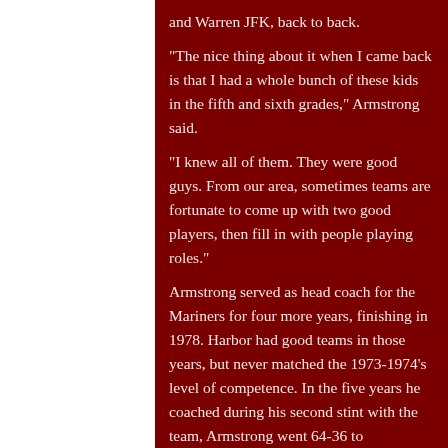and Warren JFK, back to back. "The nice thing about it when I came back is that I had a whole bunch of these kids in the fifth and sixth grades," Armstrong said. "I knew all of them. They were good guys. From our area, sometimes teams are fortunate to come up with two good players, then fill in with people playing roles." Armstrong served as head coach for the Mariners for four more years, finishing in 1978. Harbor had good teams in those years, but never matched the 1973-1974's level of competence. In the five years he coached during his second stint with the team, Armstrong went 64-36 to